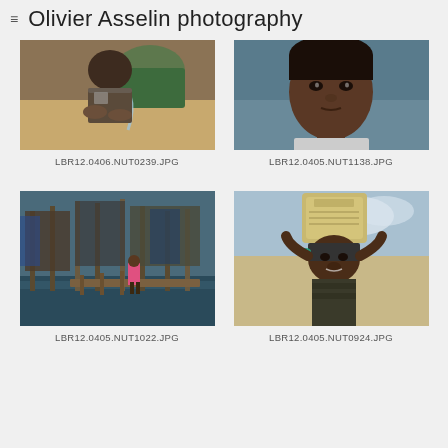≡  Olivier Asselin photography
[Figure (photo): Child washing hands or sifting grain outdoors, close-up of hands near water stream with yellow-orange material]
LBR12.0406.NUT0239.JPG
[Figure (photo): Portrait of a young African girl looking directly at the camera]
LBR12.0405.NUT1138.JPG
[Figure (photo): Person in pink clothing walking on wooden planks over flooded area with makeshift structures in background]
LBR12.0405.NUT1022.JPG
[Figure (photo): Child carrying a large yellow jerry can on their head, looking at camera]
LBR12.0405.NUT0924.JPG